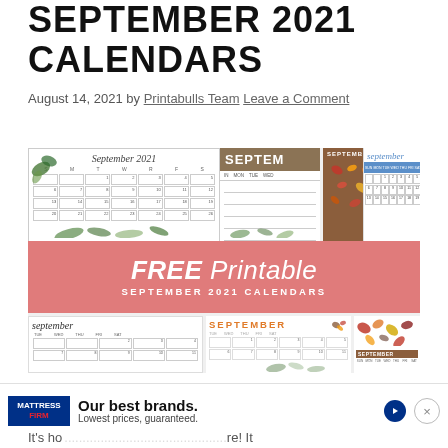SEPTEMBER 2021 CALENDARS
August 14, 2021 by Printabulls Team Leave a Comment
[Figure (illustration): Collage of free printable September 2021 calendar designs with a pink banner overlay reading FREE Printable SEPTEMBER 2021 CALENDARS]
[Figure (infographic): Advertisement banner for Mattress Firm: Our best brands. Lowest prices, guaranteed.]
It's ho... ...re! It